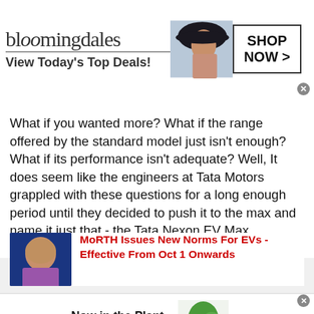[Figure (screenshot): Bloomingdale's advertisement banner with logo, 'View Today's Top Deals!' tagline, woman in hat photo, and 'SHOP NOW >' button]
What if you wanted more? What if the range offered by the standard model just isn't enough? What if its performance isn't adequate? Well, It does seem like the engineers at Tata Motors grappled with these questions for a long enough period until they decided to push it to the max and name it just that - the Tata Nexon EV Max.
[Figure (photo): Thumbnail photo of a person in a blue suit at a podium]
MoRTH Issues New Norms For EVs - Effective From Oct 1 Onwards
[Figure (screenshot): 1-800-flowers.com advertisement with plant photo and 'SEE WHAT'S NEW' button]